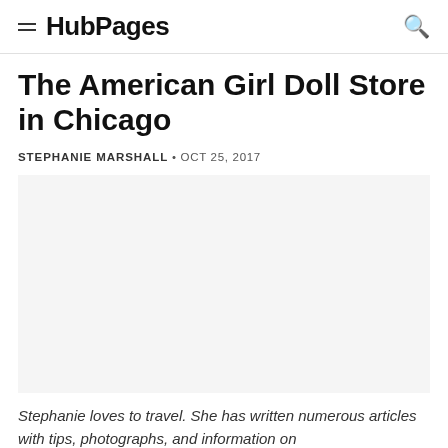HubPages
The American Girl Doll Store in Chicago
STEPHANIE MARSHALL • OCT 25, 2017
[Figure (photo): Large image placeholder area (white/light gray), likely a photo of the American Girl Doll Store in Chicago]
Stephanie loves to travel. She has written numerous articles with tips, photographs, and information on